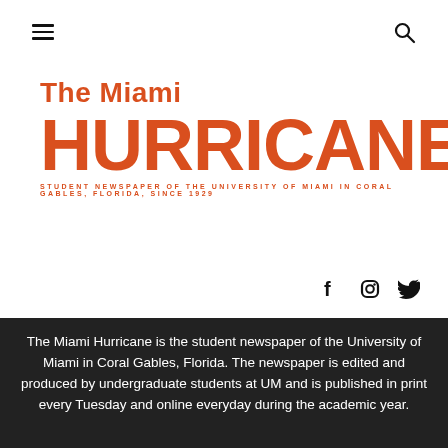Navigation menu icon and search icon
[Figure (logo): The Miami Hurricane student newspaper logo in orange. Large bold HURRICANE text with 'The Miami' above and tagline 'STUDENT NEWSPAPER OF THE UNIVERSITY OF MIAMI IN CORAL GABLES, FLORIDA, SINCE 1929' below.]
[Figure (other): Social media icons: Facebook (f), Instagram, Twitter (bird) in black]
The Miami Hurricane is the student newspaper of the University of Miami in Coral Gables, Florida. The newspaper is edited and produced by undergraduate students at UM and is published in print every Tuesday and online everyday during the academic year.